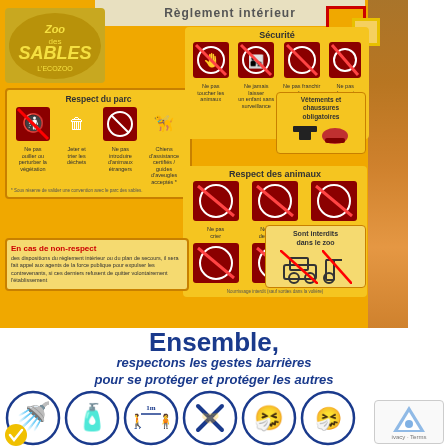[Figure (infographic): Zoo des Sables L'Ecozoo internal rules sign showing Sécurité (security), Respect du parc (park respect), Respect des animaux (animal respect), Vêtements et chaussures obligatoires (required clothing), En cas de non-respect (in case of non-compliance), and Sont interdits dans le zoo (prohibited in zoo) sections with pictograms on yellow/orange background]
Ensemble, respectons les gestes barrières pour se protéger et protéger les autres
[Figure (infographic): Six circular barrier gesture icons: handwashing, hand disinfection, 1m social distancing, no handshaking, sneezing into elbow, and nose blowing. Yellow badge with checkmark overlay on first icon. reCAPTCHA logo in bottom right.]